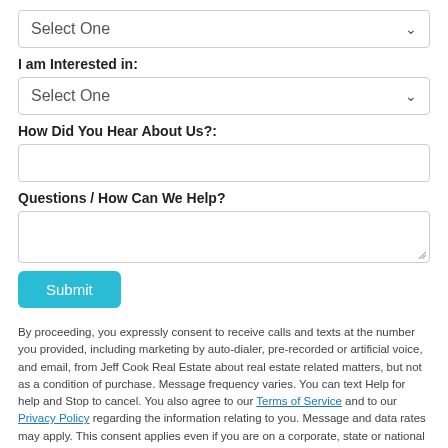[Figure (other): Dropdown select box with 'Select One' placeholder and chevron]
I am Interested in:
[Figure (other): Dropdown select box with 'Select One' placeholder and chevron]
How Did You Hear About Us?:
[Figure (other): Text input field]
Questions / How Can We Help?
[Figure (other): Textarea input field with resize handle]
Submit
By proceeding, you expressly consent to receive calls and texts at the number you provided, including marketing by auto-dialer, pre-recorded or artificial voice, and email, from Jeff Cook Real Estate about real estate related matters, but not as a condition of purchase. Message frequency varies. You can text Help for help and Stop to cancel. You also agree to our Terms of Service and to our Privacy Policy regarding the information relating to you. Message and data rates may apply. This consent applies even if you are on a corporate, state or national Do Not Call list.